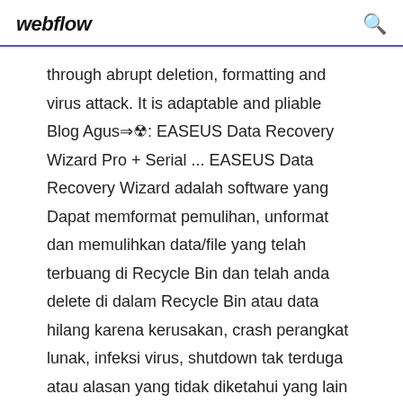webflow
through abrupt deletion, formatting and virus attack. It is adaptable and pliable Blog Agus⇒☢: EASEUS Data Recovery Wizard Pro + Serial ... EASEUS Data Recovery Wizard adalah software yang Dapat memformat pemulihan, unformat dan memulihkan data/file yang telah terbuang di Recycle Bin dan telah anda delete di dalam Recycle Bin atau data hilang karena kerusakan, crash perangkat lunak, infeksi virus, shutdown tak terduga atau alasan yang tidak diketahui yang lain di bawah Windows 2000/XP/Vista / 2003/2008 SP1/Windows 7 R2 SP1. ... EaseUS MobiSaver 7.6 Crack + License Code ...